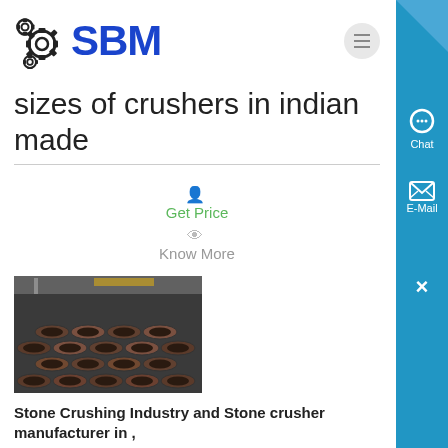[Figure (logo): SBM logo with gear/cog icon in black and company name in bold blue text]
sizes of crushers in indian made
Get Price
Know More
[Figure (photo): Photo of stacked steel/metal pipes in an industrial warehouse setting]
Stone Crushing Industry and Stone crusher manufacturer in ,
Jan 25, 2012 0183 32 stone crushing industry in